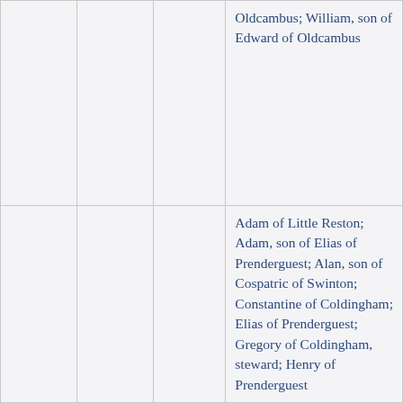|  |  |  | Oldcambus; William, son of Edward of Oldcambus |
|  |  |  | Adam of Little Reston; Adam, son of Elias of Prenderguest; Alan, son of Cospatric of Swinton; Constantine of Coldingham; Elias of Prenderguest; Gregory of Coldingham, steward; Henry of Prenderguest |